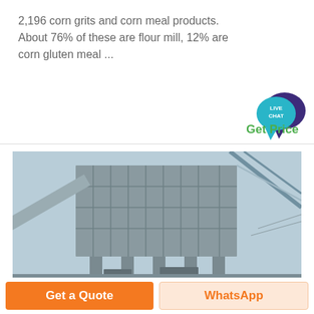2,196 corn grits and corn meal products. About 76% of these are flour mill, 12% are corn gluten meal ...
[Figure (other): Live chat speech bubble icon — teal bubble with text LIVE CHAT overlapping a dark purple speech bubble]
Get Price
[Figure (photo): Industrial grain milling or dust collection facility showing a large grey rectangular unit with grid panels elevated on steel legs, with conveyor belts and steel framework visible against a light sky]
Get a Quote
WhatsApp